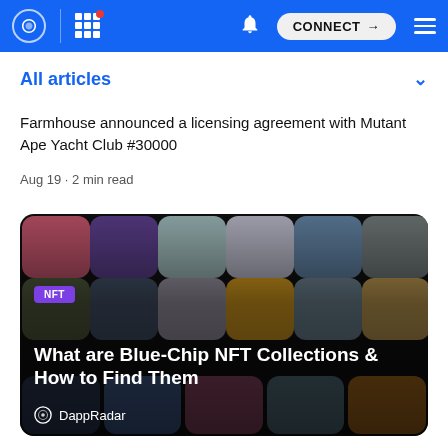CONNECT
All articles
Farmhouse announced a licensing agreement with Mutant Ape Yacht Club #30000
Aug 19 · 2 min read
[Figure (illustration): NFT article card showing a grid of colorful NFT avatar icons on dark background with title 'What are Blue-Chip NFT Collections & How to Find Them' and DappRadar branding, with purple NFT badge]